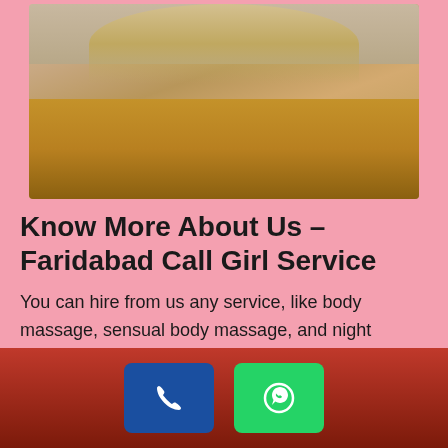[Figure (photo): Photo of a young woman in a yellow/mustard top, cropped to show torso and partial face, set against a pink background]
Know More About Us – Faridabad Call Girl Service
You can hire from us any service, like body massage, sensual body massage, and night service along with hourly service. Choose any service as per your need and desire. If you have money, you can get satisfied beyond your imagination. Our experienced, beautiful, and bold girls know how to satisfy you publicly and privately. They know how to behave with you at the